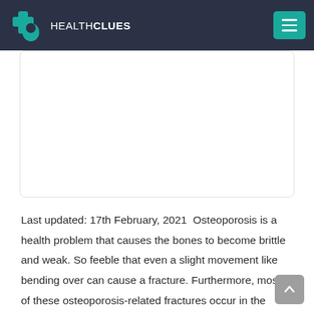HEALTH CLUES
[Figure (photo): White rectangular image placeholder area with light border and rounded corners]
Last updated: 17th February, 2021  Osteoporosis is a health problem that causes the bones to become brittle and weak. So feeble that even a slight movement like bending over can cause a fracture. Furthermore, most of these osteoporosis-related fractures occur in the wrist,